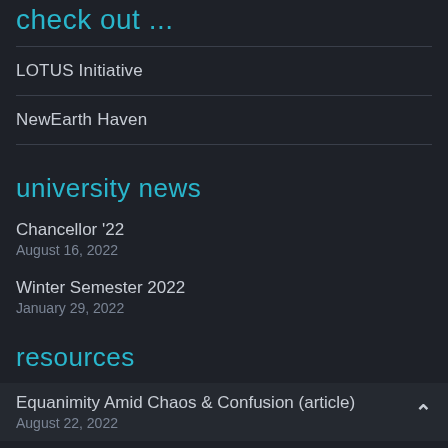check out ...
LOTUS Initiative
NewEarth Haven
university news
Chancellor '22
August 16, 2022
Winter Semester 2022
January 29, 2022
resources
Equanimity Amid Chaos & Confusion (article)
August 22, 2022
Shining a Light on The First Human Relationship by faculty Kali Dommel